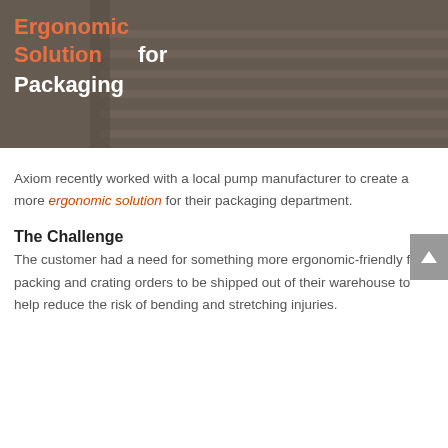[Figure (photo): Industrial machinery/conveyor equipment photo with dark overlay. Text overlay shows 'Ergonomic Solution for Packaging' with 'Ergonomic Solution' in orange and 'for Packaging' in white bold text.]
Axiom recently worked with a local pump manufacturer to create a more ergonomic solution for their packaging department.
The Challenge
The customer had a need for something more ergonomic-friendly for packing and crating orders to be shipped out of their warehouse to help reduce the risk of bending and stretching injuries.